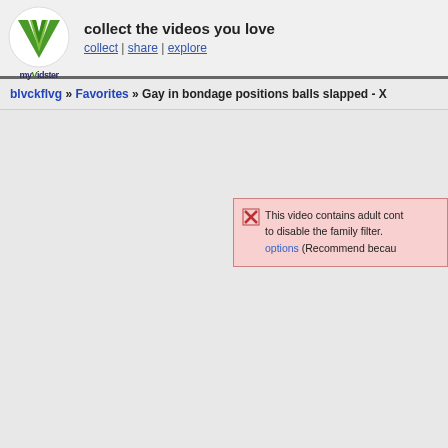[Figure (logo): myVidster logo - green V shape with checkmark on white circle background, with 'myVidster' text]
collect the videos you love
collect | share | explore
blvckflvg » Favorites » Gay in bondage positions balls slapped - X
This video contains adult cont... to disable the family filter. options (Recommend becau...